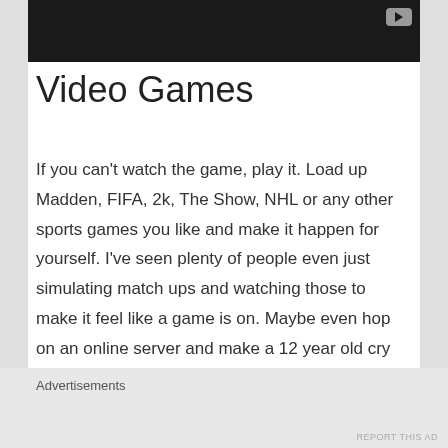[Figure (screenshot): Black video player bar with YouTube play button icon in top right corner]
Video Games
If you can't watch the game, play it. Load up Madden, FIFA, 2k, The Show, NHL or any other sports games you like and make it happen for yourself. I've seen plenty of people even just simulating match ups and watching those to make it feel like a game is on. Maybe even hop on an online server and make a 12 year old cry because you're older, stronger, smarter and angrier about not having sports than he is. Show no mercy. I
Advertisements
REPORT THIS AD